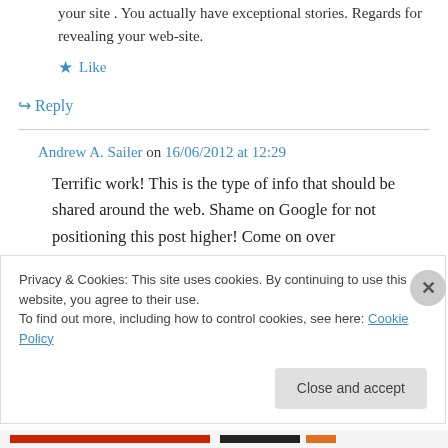your site . You actually have exceptional stories. Regards for revealing your web-site.
★ Like
↪ Reply
Andrew A. Sailer on 16/06/2012 at 12:29
Terrific work! This is the type of info that should be shared around the web. Shame on Google for not positioning this post higher! Come on over
Privacy & Cookies: This site uses cookies. By continuing to use this website, you agree to their use. To find out more, including how to control cookies, see here: Cookie Policy
Close and accept